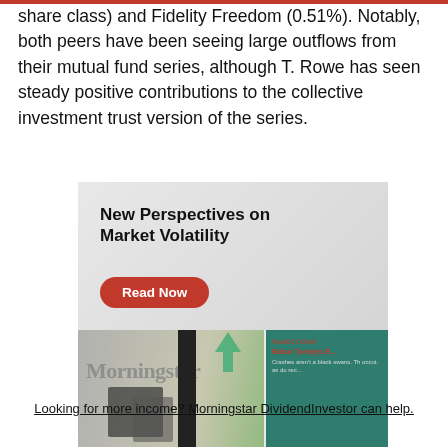share class) and Fidelity Freedom (0.51%). Notably, both peers have been seeing large outflows from their mutual fund series, although T. Rowe has seen steady positive contributions to the collective investment trust version of the series.
[Figure (illustration): Advertisement for Morningstar publication titled 'New Perspectives on Market Volatility' with a 'Read Now' button and collage of Morningstar magazine covers.]
Looking for more income? Morningstar DividendInvestor can help.